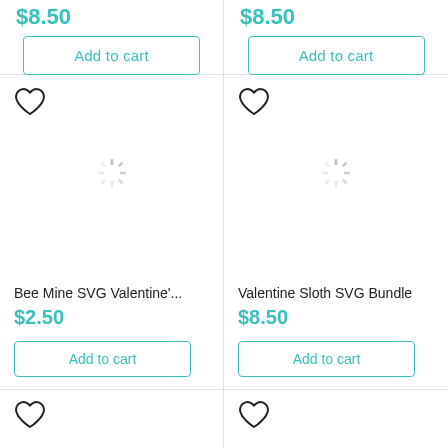$8.50
Add to cart
$8.50
Add to cart
[Figure (illustration): Heart/wishlist icon (outline)]
[Figure (illustration): Loading spinner icon]
[Figure (illustration): Heart/wishlist icon (outline)]
[Figure (illustration): Loading spinner icon]
Bee Mine SVG Valentine'...
$2.50
Add to cart
Valentine Sloth SVG Bundle
$8.50
Add to cart
[Figure (illustration): Heart/wishlist icon (outline)]
[Figure (illustration): Heart/wishlist icon (outline)]